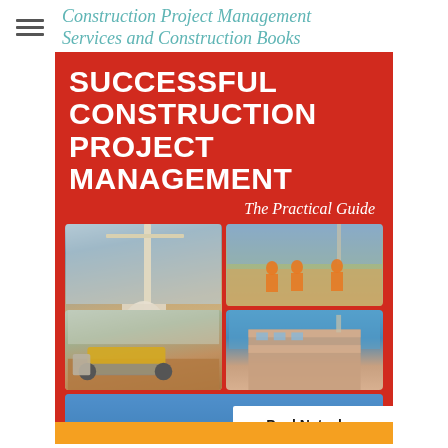Construction Project Management Services and Construction Books
[Figure (photo): Book cover of 'Successful Construction Project Management: The Practical Guide' by Paul Netscher. Red cover with four construction site photographs showing cranes, workers, earthmoving equipment, a building under construction, and an arch structure.]